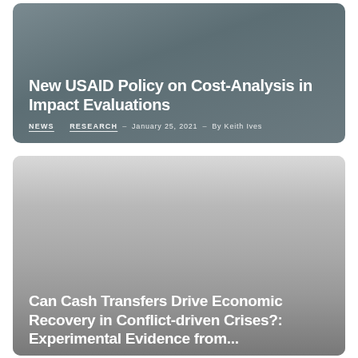New USAID Policy on Cost-Analysis in Impact Evaluations
NEWS   RESEARCH  –  January 25, 2021  –  By Keith Ives
[Figure (photo): Gray gradient background image serving as card background for second article]
Can Cash Transfers Drive Economic Recovery in Conflict-driven Crises?: Experimental Evidence from...